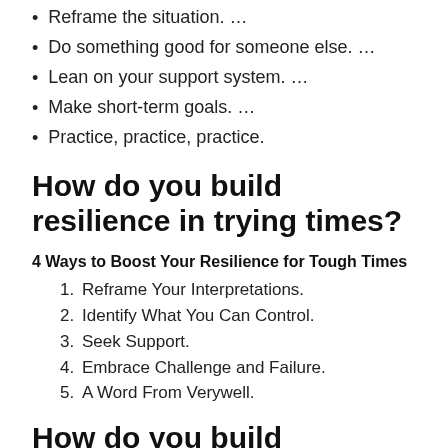Reframe the situation. …
Do something good for someone else. …
Lean on your support system. …
Make short-term goals. …
Practice, practice, practice.
How do you build resilience in trying times?
4 Ways to Boost Your Resilience for Tough Times
1. Reframe Your Interpretations.
2. Identify What You Can Control.
3. Seek Support.
4. Embrace Challenge and Failure.
5. A Word From Verywell.
How do you build resilience in